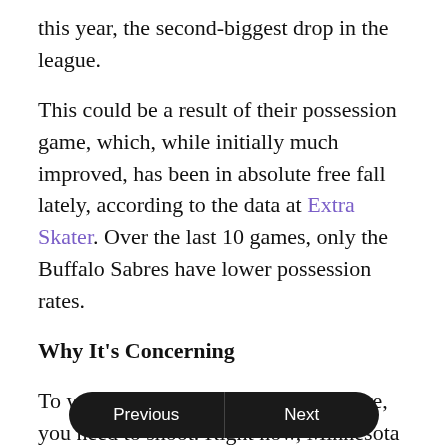this year, the second-biggest drop in the league.
This could be a result of their possession game, which, while initially much improved, has been in absolute free fall lately, according to the data at Extra Skater. Over the last 10 games, only the Buffalo Sabres have lower possession rates.
Why It's Concerning
To win, you need to score, and to score, you need to shoot. Right now, Minnesota is being outscored by four goals and shouldn't consider its playoff position as being safe.
Last year, Minnesota had six players who averaged at least two shots per g[ame]: Zach Parise, Mikael Granlund, Jason Pominville, Dany Heatley, Cal Clutterbuck and Devin [Setoguchi]. The league average has been...